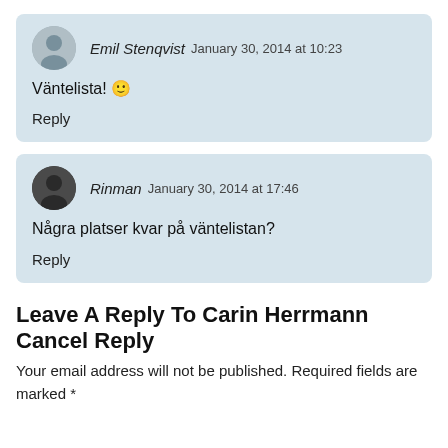Emil Stenqvist January 30, 2014 at 10:23
Väntelista! 🙂
Reply
Rinman January 30, 2014 at 17:46
Några platser kvar på väntelistan?
Reply
Leave A Reply To Carin Herrmann Cancel Reply
Your email address will not be published. Required fields are marked *